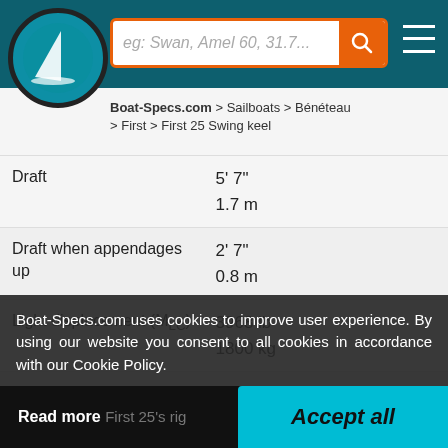[Figure (logo): Boat-Specs.com sailing logo — teal circle with white sailboat silhouette]
eg: Swan, Amel 60, 31.7... [search bar] [hamburger menu]
Boat-Specs.com > Sailboats > Bénéteau > First > First 25 Swing keel
| Specification | Value |
| --- | --- |
| Draft | 5' 7"
1.7 m |
| Draft when appendages up | 2' 7"
0.8 m |
| Light displacement (MLC) | 3968 lb
1800 kg |
| Ballast weight | 1543 lb
700 kg |
| Freeboard amidships |  |
| First 25's rig |  |
| Upwind sail area | 388 ft²
36 m² |
Boat-Specs.com uses cookies to improve user experience. By using our website you consent to all cookies in accordance with our Cookie Policy.
Read more   First 25's rig
Accept all